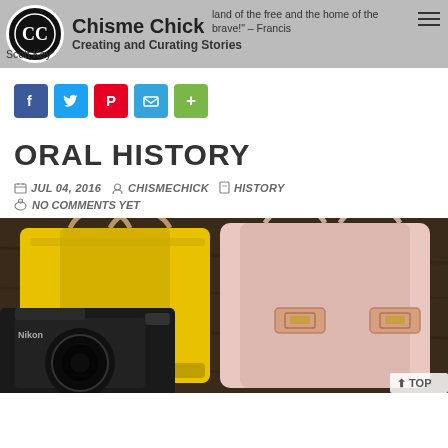Chisme Chick — Creating and Curating Stories | "…land of the free and the home of the brave!" – Francis Scott Key
[Figure (infographic): Social share buttons: Facebook (blue), Twitter (light blue), Pinterest (red), Email (blue), Share (green plus)]
ORAL HISTORY
JUL 04, 2016  CHISMECHICK  HISTORY
NO COMMENTS YET
[Figure (photo): Photo of two bags — a yellow tote and a pink structured satchel (kate spade), with a Nikon DSLR camera in the foreground on a dark wooden surface]